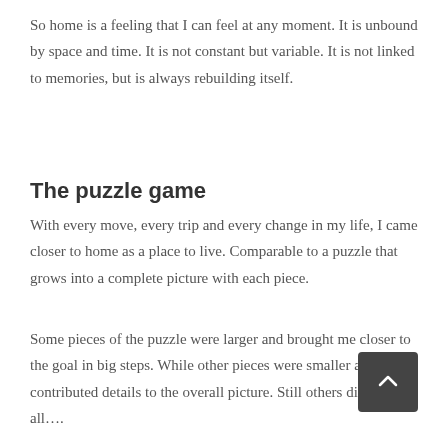So home is a feeling that I can feel at any moment. It is unbound by space and time. It is not constant but variable. It is not linked to memories, but is always rebuilding itself.
The puzzle game
With every move, every trip and every change in my life, I came closer to home as a place to live. Comparable to a puzzle that grows into a complete picture with each piece.
Some pieces of the puzzle were larger and brought me closer to the goal in big steps. While other pieces were smaller and only contributed details to the overall picture. Still others didn’t fit at all….
H